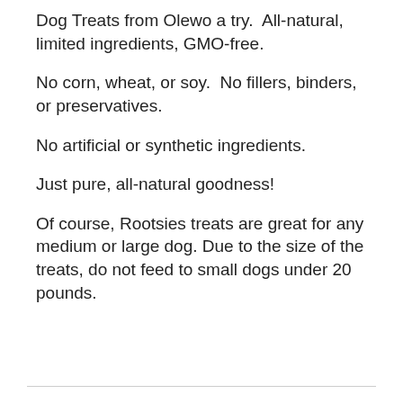Dog Treats from Olewo a try.  All-natural, limited ingredients, GMO-free.
No corn, wheat, or soy.  No fillers, binders, or preservatives.
No artificial or synthetic ingredients.
Just pure, all-natural goodness!
Of course, Rootsies treats are great for any medium or large dog. Due to the size of the treats, do not feed to small dogs under 20 pounds.